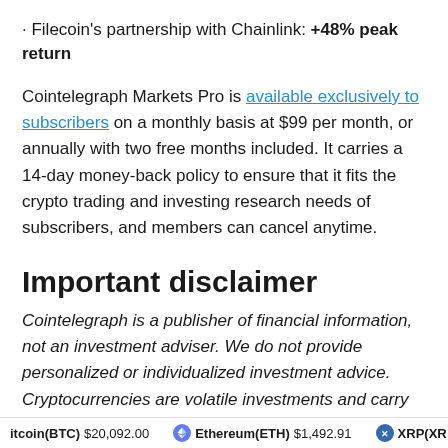· Filecoin's partnership with Chainlink: +48% peak return
Cointelegraph Markets Pro is available exclusively to subscribers on a monthly basis at $99 per month, or annually with two free months included. It carries a 14-day money-back policy to ensure that it fits the crypto trading and investing research needs of subscribers, and members can cancel anytime.
Important disclaimer
Cointelegraph is a publisher of financial information, not an investment adviser. We do not provide personalized or individualized investment advice. Cryptocurrencies are volatile investments and carry significant risk including the risk of permanent and total loss. Past performance is not
Bitcoin(BTC) $20,092.00   Ethereum(ETH) $1,492.91   XRP(XRP)